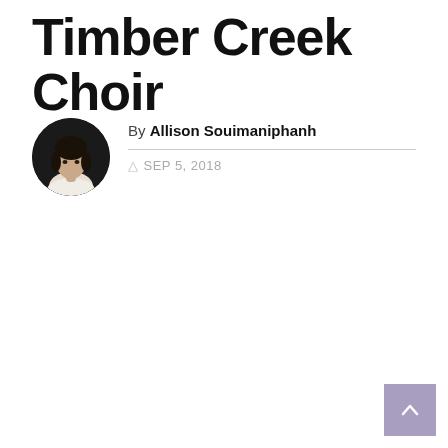Timber Creek Choir
By Allison Souimaniphanh
SEP 5, 2018
[Figure (photo): Circular portrait photo of author Allison Souimaniphanh, a young woman in a white top against a dark background]